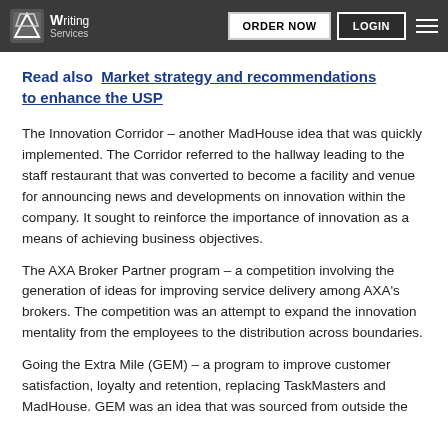Writing Services | ORDER NOW | LOGIN
Read also  Market strategy and recommendations to enhance the USP
The Innovation Corridor – another MadHouse idea that was quickly implemented. The Corridor referred to the hallway leading to the staff restaurant that was converted to become a facility and venue for announcing news and developments on innovation within the company. It sought to reinforce the importance of innovation as a means of achieving business objectives.
The AXA Broker Partner program – a competition involving the generation of ideas for improving service delivery among AXA's brokers. The competition was an attempt to expand the innovation mentality from the employees to the distribution across boundaries.
Going the Extra Mile (GEM) – a program to improve customer satisfaction, loyalty and retention, replacing TaskMasters and MadHouse. GEM was an idea that was sourced from outside the